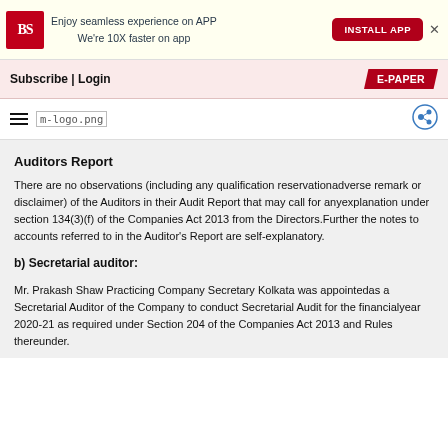[Figure (infographic): Business Standard app banner with BS logo, text 'Enjoy seamless experience on APP We're 10X faster on app', INSTALL APP button, and close X]
Subscribe | Login   E-PAPER
hamburger menu, m-logo.png, share icon
Auditors Report
There are no observations (including any qualification reservationadverse remark or disclaimer) of the Auditors in their Audit Report that may call for anyexplanation under section 134(3)(f) of the Companies Act 2013 from the Directors.Further the notes to accounts referred to in the Auditor's Report are self-explanatory.
b) Secretarial auditor:
Mr. Prakash Shaw Practicing Company Secretary Kolkata was appointedas a Secretarial Auditor of the Company to conduct Secretarial Audit for the financialyear 2020-21 as required under Section 204 of the Companies Act 2013 and Rules thereunder.